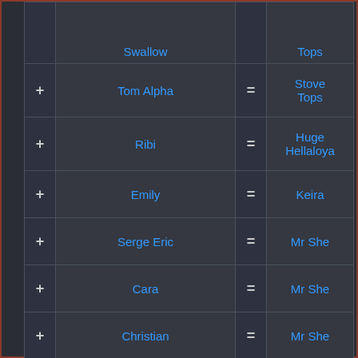| + | Name | = | Result |
| --- | --- | --- | --- |
|  | Captain + Swallow [partial] |  | Stove Tops [partial] |
| + | Tom Alpha | = | Stove Tops |
| + | Ribi | = | Huge Hellaloya |
| + | Emily | = | Keira |
| + | Serge Eric | = | Mr She |
| + | Cara | = | Mr She |
| + | Christian | = | Mr She |
| + | Professor | = | Mr Alan |
| + | Red Ninja | = | Mr Alan |
| + | Nolan | = | Mr Alan |